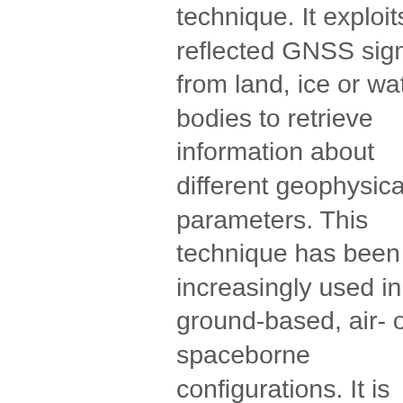technique. It exploits reflected GNSS signals from land, ice or water bodies to retrieve information about different geophysical parameters. This technique has been increasingly used in ground-based, air- or spaceborne configurations. It is being pursued for a variety of applications over land, ocean and ice. Different processing approaches could be developed and applied to get geophysical information with